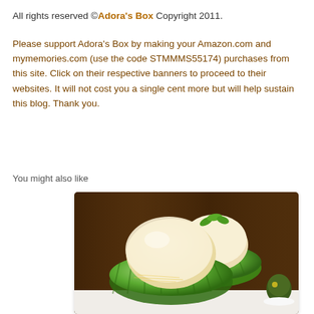All rights reserved ©Adora's Box Copyright 2011.
Please support Adora's Box by making your Amazon.com and mymemories.com (use the code STMMMS55174) purchases from this site. Click on their respective banners to proceed to their websites. It will not cost you a single cent more but will help sustain this blog. Thank you.
You might also like
[Figure (photo): Photo of scoops of vanilla ice cream in green glass dessert bowls, garnished with fresh mint leaves, on a white surface with dark brown wooden background]